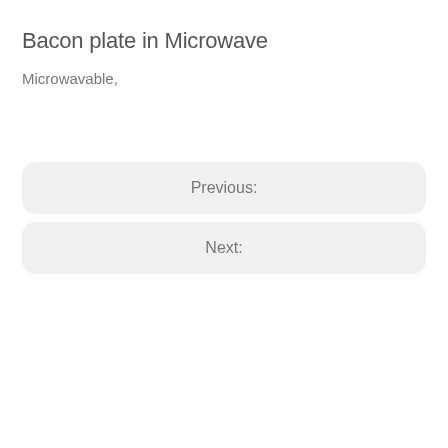Bacon plate in Microwave
Microwavable,
Previous:
Next: